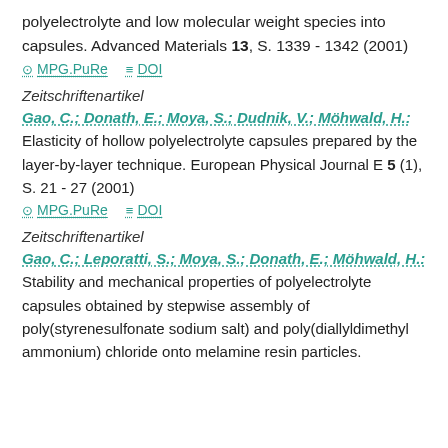polyelectrolyte and low molecular weight species into capsules. Advanced Materials 13, S. 1339 - 1342 (2001)
MPG.PuRe   DOI
Zeitschriftenartikel
Gao, C.; Donath, E.; Moya, S.; Dudnik, V.; Möhwald, H.: Elasticity of hollow polyelectrolyte capsules prepared by the layer-by-layer technique. European Physical Journal E 5 (1), S. 21 - 27 (2001)
MPG.PuRe   DOI
Zeitschriftenartikel
Gao, C.; Leporatti, S.; Moya, S.; Donath, E.; Möhwald, H.: Stability and mechanical properties of polyelectrolyte capsules obtained by stepwise assembly of poly(styrenesulfonate sodium salt) and poly(diallyldimethyl ammonium) chloride onto melamine resin particles.